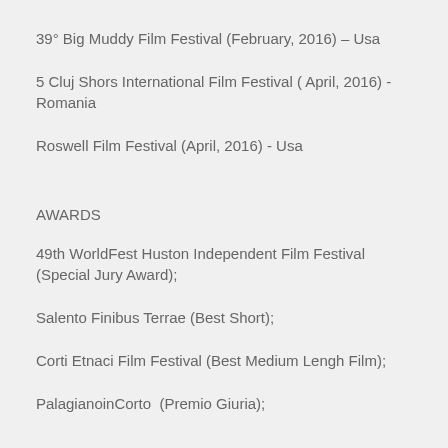39° Big Muddy Film Festival (February, 2016) – Usa
5 Cluj Shors International Film Festival ( April, 2016) - Romania
Roswell Film Festival (April, 2016) - Usa
AWARDS
49th WorldFest Huston Independent Film Festival (Special Jury Award);
Salento Finibus Terrae (Best Short);
Corti Etnaci Film Festival (Best Medium Lengh Film);
PalagianoinCorto  (Premio Giuria);